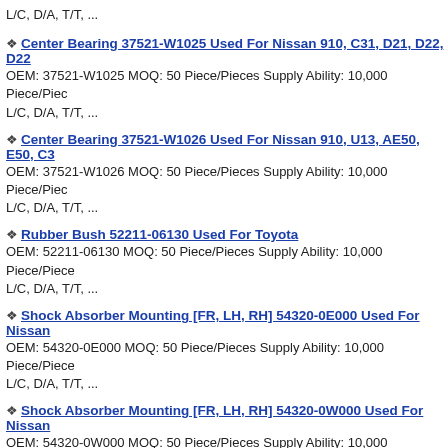L/C, D/A, T/T, ...
Center Bearing 37521-W1025 Used For Nissan 910, C31, D21, D22, D22...
OEM: 37521-W1025 MOQ: 50 Piece/Pieces Supply Ability: 10,000 Piece/Piec...
L/C, D/A, T/T, ...
Center Bearing 37521-W1026 Used For Nissan 910, U13, AE50, E50, C3...
OEM: 37521-W1026 MOQ: 50 Piece/Pieces Supply Ability: 10,000 Piece/Piec...
L/C, D/A, T/T, ...
Rubber Bush 52211-06130 Used For Toyota
OEM: 52211-06130 MOQ: 50 Piece/Pieces Supply Ability: 10,000 Piece/Piece...
L/C, D/A, T/T, ...
Shock Absorber Mounting [FR, LH, RH] 54320-0E000 Used For Nissan...
OEM: 54320-0E000 MOQ: 50 Piece/Pieces Supply Ability: 10,000 Piece/Piece...
L/C, D/A, T/T, ...
Shock Absorber Mounting [FR, LH, RH] 54320-0W000 Used For Nissan...
OEM: 54320-0W000 MOQ: 50 Piece/Pieces Supply Ability: 10,000 Piece/Piec...
L/C, D/A, T/T, ...
Shock Absorber Mounting [FR, LH, RH] 54320-2W100 Used For Nissan...
OEM: 54320-2W100 MOQ: 50 Piece/Pieces Supply Ability: 10,000 Piece/Piec...
L/C, D/A, T/T, ...
Shock Absorber Mounting 54320-2Y000 Used For Nissan
OEM: 54320-2Y000 MOQ: 50 Piece/Pieces Supply Ability: 10,000 Piece/Piec...
L/C, D/A, T/T, ...